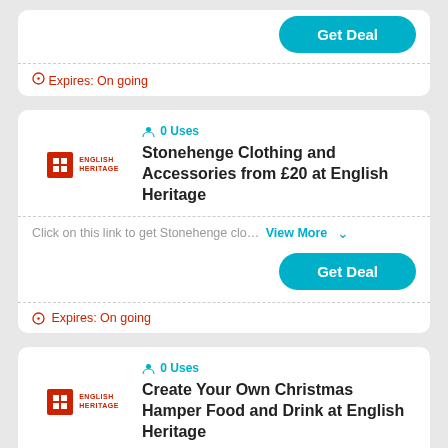Expires: On going
0 Uses
Stonehenge Clothing and Accessories from £20 at English Heritage
Click on this link to get Stonehenge clo… View More
Get Deal
Expires: On going
0 Uses
Create Your Own Christmas Hamper Food and Drink at English Heritage
Click on this link to create your own Ch… View More